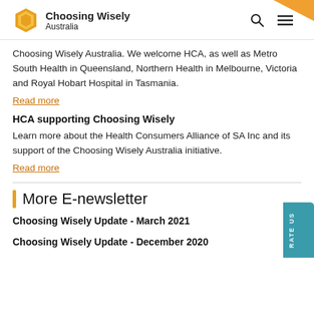Choosing Wisely Australia
Choosing Wisely Australia. We welcome HCA, as well as Metro South Health in Queensland, Northern Health in Melbourne, Victoria and Royal Hobart Hospital in Tasmania.
Read more
HCA supporting Choosing Wisely
Learn more about the Health Consumers Alliance of SA Inc and its support of the Choosing Wisely Australia initiative.
Read more
More E-newsletter
Choosing Wisely Update - March 2021
Choosing Wisely Update - December 2020